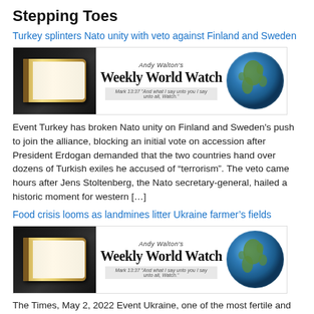Stepping Toes
Turkey splinters Nato unity with veto against Finland and Sweden
[Figure (illustration): Andy Walton's Weekly World Watch banner with open Bible image on left, globe on right, and text 'Andy Walton's Weekly World Watch' with subtitle 'Mark 13:37 And what I say unto you I say unto all, Watch.']
Event Turkey has broken Nato unity on Finland and Sweden's push to join the alliance, blocking an initial vote on accession after President Erdogan demanded that the two countries hand over dozens of Turkish exiles he accused of “terrorism”. The veto came hours after Jens Stoltenberg, the Nato secretary-general, hailed a historic moment for western […]
Food crisis looms as landmines litter Ukraine farmer's fields
[Figure (illustration): Andy Walton's Weekly World Watch banner with open Bible image on left, globe on right, and text 'Andy Walton's Weekly World Watch' with subtitle 'Mark 13:37 And what I say unto you I say unto all, Watch.']
The Times, May 2, 2022 Event Ukraine, one of the most fertile and